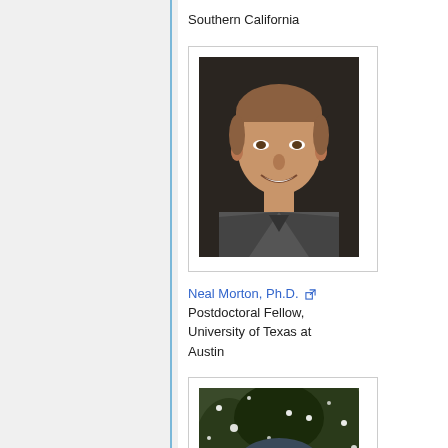Southern California
[Figure (photo): Headshot of a young man smiling, wearing a grey jacket, dark background]
Neal Morton, Ph.D. [external link icon]
Postdoctoral Fellow, University of Texas at Austin
[Figure (photo): Man wearing a beanie hat and yellow jacket, surrounded by snow, smiling at camera]